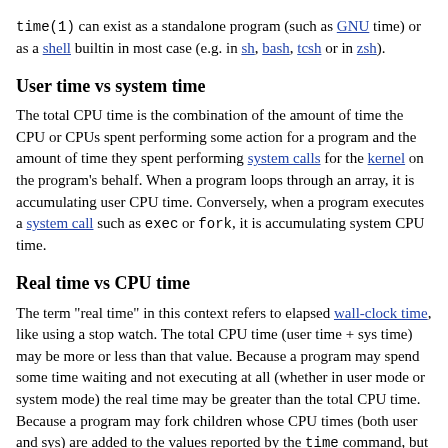time(1) can exist as a standalone program (such as GNU time) or as a shell builtin in most case (e.g. in sh, bash, tcsh or in zsh).
User time vs system time
The total CPU time is the combination of the amount of time the CPU or CPUs spent performing some action for a program and the amount of time they spent performing system calls for the kernel on the program's behalf. When a program loops through an array, it is accumulating user CPU time. Conversely, when a program executes a system call such as exec or fork, it is accumulating system CPU time.
Real time vs CPU time
The term "real time" in this context refers to elapsed wall-clock time, like using a stop watch. The total CPU time (user time + sys time) may be more or less than that value. Because a program may spend some time waiting and not executing at all (whether in user mode or system mode) the real time may be greater than the total CPU time. Because a program may fork children whose CPU times (both user and sys) are added to the values reported by the time command, but on a multicore system these tasks are run in parallel,